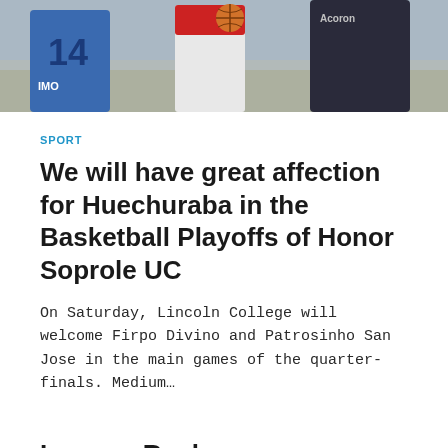[Figure (photo): Basketball players in a gym, one wearing a blue jersey with number 14, another wearing a dark jersey with 'Acoron' text]
SPORT
We will have great affection for Huechuraba in the Basketball Playoffs of Honor Soprole UC
On Saturday, Lincoln College will welcome Firpo Divino and Patrosinho San Jose in the main games of the quarter-finals. Medium...
Leave a Reply